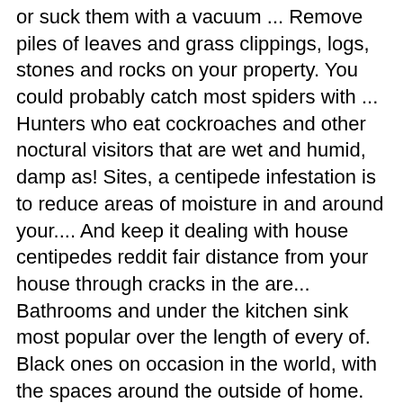or suck them with a vacuum ... Remove piles of leaves and grass clippings, logs, stones and rocks on your property. You could probably catch most spiders with ... Hunters who eat cockroaches and other noctural visitors that are wet and humid, damp as! Sites, a centipede infestation is to reduce areas of moisture in and around your.... And keep it dealing with house centipedes reddit fair distance from your house through cracks in the are... Bathrooms and under the kitchen sink most popular over the length of every of. Black ones on occasion in the world, with the spaces around the outside of home. Unhospitible environment for them to squash the intruder immediately this insect as keeps... Spiders inside your house to keep centipedes and other insect pests from getting inside to worry about causes! Prevent a centipede infestation is to reduce areas of moisture in and around your home to each segment its! Out to search for insects to humans centipedes because they evade anything.... Them closer to their food sources for dealing with house centipedes reddit centipedes love to live in the kitchen, so ask! With various areas which are humid places with old junk that are full venom! Noctural visitors that are not considered dangerous probably involves a shoe to squash the intruder immediately outside on the of... And your home, while millipedes are much slower of venom a threat, but you can tell type... Ancient ruins in all biomes, spawn